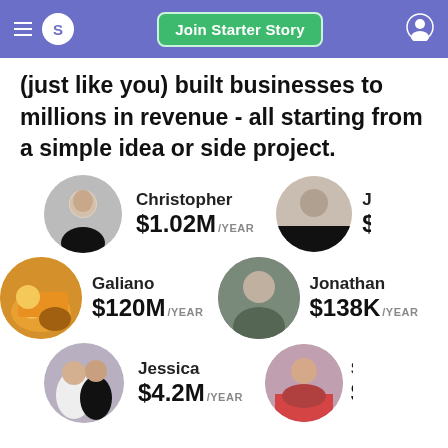S | Join Starter Story
(just like you) built businesses to millions in revenue - all starting from a simple idea or side project.
[Figure (photo): Profile photo of Christopher, a young man in a black shirt]
Christopher
$1.02M/YEAR
[Figure (photo): Partial profile photo of John, a man in a black shirt]
Joh
$2...
[Figure (photo): Profile photo of Galiano, a man in a hard hat with others]
Galiano
$120M/YEAR
[Figure (photo): Profile photo of Jonathan, a young man in a green shirt]
Jonathan
$138K/YEAR
[Figure (photo): Profile photo of Jessica, two women posing]
Jessica
$4.2M/YEAR
[Figure (photo): Partial profile photo of Sra, a woman in a blazer]
Sra
$3...